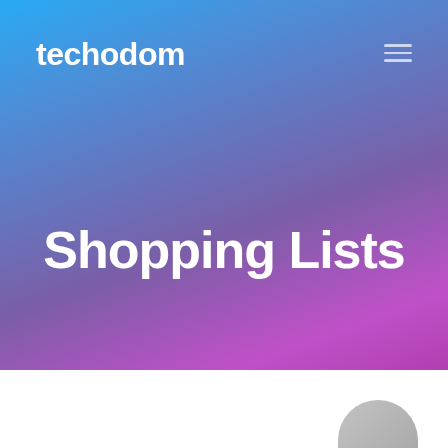[Figure (screenshot): Website header with blue-to-purple gradient background. Logo 'techodom' in white bold text top-left, hamburger menu icon top-right, large bold white text 'Shopping Lists' centered in the hero area. Bottom portion is white with a partial dark object visible.]
techodom
Shopping Lists